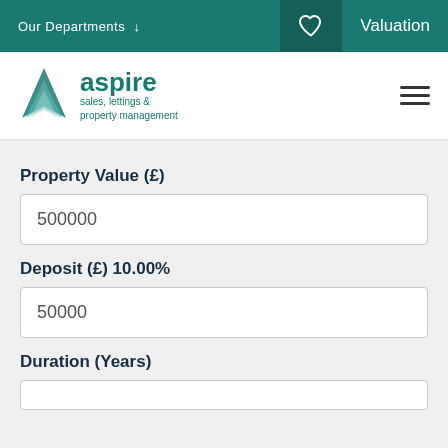Our Departments ↓   Valuation
[Figure (logo): Aspire sales, lettings & property management logo with teal triangle icon]
Property Value (£)
500000
Deposit (£) 10.00%
50000
Duration (Years)